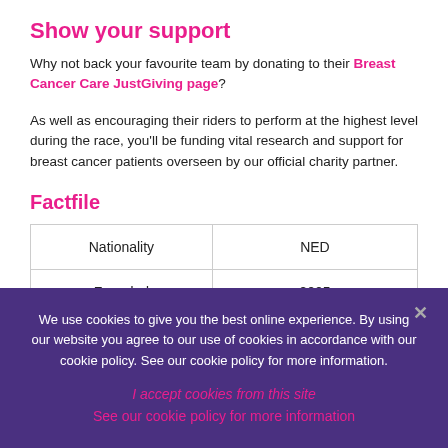Show your support
Why not back your favourite team by donating to their Breast Cancer Care JustGiving page?
As well as encouraging their riders to perform at the highest level during the race, you'll be funding vital research and support for breast cancer patients overseen by our official charity partner.
Factfile
| Nationality | NED |
| Founded | 2005 |
| Team managers | Jeroen Blijlevens |
We use cookies to give you the best online experience. By using our website you agree to our use of cookies in accordance with our cookie policy. See our cookie policy for more information.
I accept cookies from this site
See our cookie policy for more information